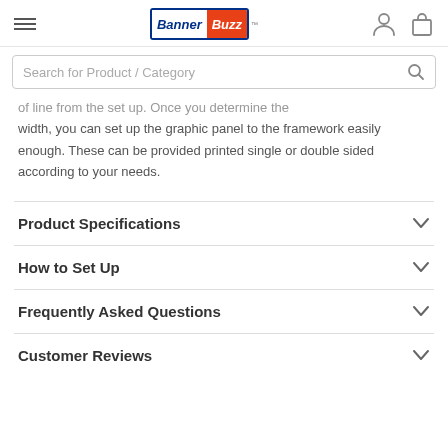BannerBuzz - Search for Product / Category
...of line from the set up. Once you determine the width, you can set up the graphic panel to the framework easily enough. These can be provided printed single or double sided according to your needs.
Product Specifications
How to Set Up
Frequently Asked Questions
Customer Reviews